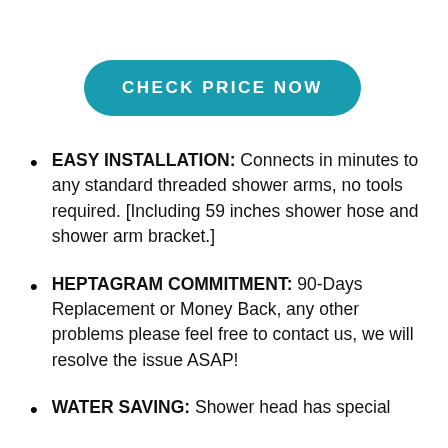CHECK PRICE NOW
EASY INSTALLATION: Connects in minutes to any standard threaded shower arms, no tools required. [Including 59 inches shower hose and shower arm bracket.]
HEPTAGRAM COMMITMENT: 90-Days Replacement or Money Back, any other problems please feel free to contact us, we will resolve the issue ASAP!
WATER SAVING: Shower head has special